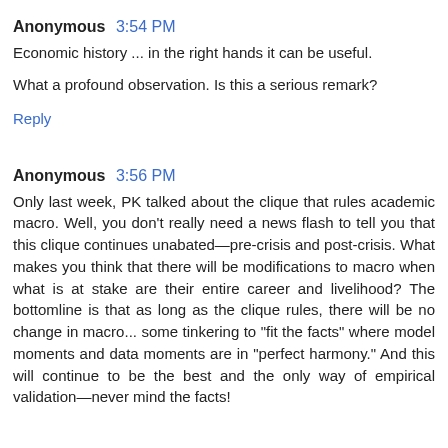Anonymous 3:54 PM
Economic history ... in the right hands it can be useful.

What a profound observation. Is this a serious remark?
Reply
Anonymous 3:56 PM
Only last week, PK talked about the clique that rules academic macro. Well, you don't really need a news flash to tell you that this clique continues unabated—pre-crisis and post-crisis. What makes you think that there will be modifications to macro when what is at stake are their entire career and livelihood? The bottomline is that as long as the clique rules, there will be no change in macro... some tinkering to "fit the facts" where model moments and data moments are in "perfect harmony." And this will continue to be the best and the only way of empirical validation—never mind the facts!